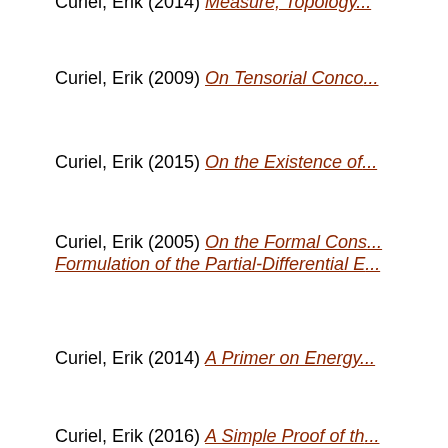Curiel, Erik (2014) Measure, Topology...
Curiel, Erik (2009) On Tensorial Conco...
Curiel, Erik (2015) On the Existence of...
Curiel, Erik (2005) On the Formal Cons... Formulation of the Partial-Differential E...
Curiel, Erik (2014) A Primer on Energy...
Curiel, Erik (2016) A Simple Proof of th...
Curiel, Erik (2015) A Weyl-Type Theore...
Curiel, Erik (2015) A Weyl-Type Theore...
Curiel, Erik (2018) On Geometric Obje... of the Einstein Field Equation. [Preprin...
Curiel, Erik (2016) On the Existence of...
Curiel, Erik (2020) Schematizing the O...
Curiel, Erik (2018) What Is a Black Hol...